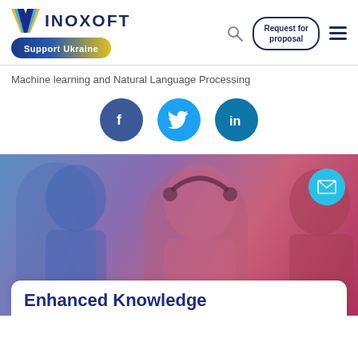INOXOFT | Support Ukraine
Machine learning and Natural Language Processing
[Figure (infographic): Social media share icons: Facebook (blue circle), Twitter (light blue circle), LinkedIn (dark blue circle)]
[Figure (photo): People working with headsets in an office, blue-to-red gradient overlay, with email envelope icon bubble in top right, and white card at bottom with title 'Enhanced Knowledge']
Enhanced Knowledge